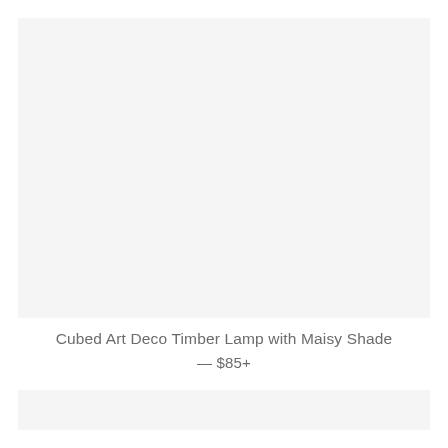[Figure (photo): Product image placeholder area for lamp — light gray box]
Cubed Art Deco Timber Lamp with Maisy Shade
— $85+
[Figure (photo): Second product image placeholder area — light gray box]